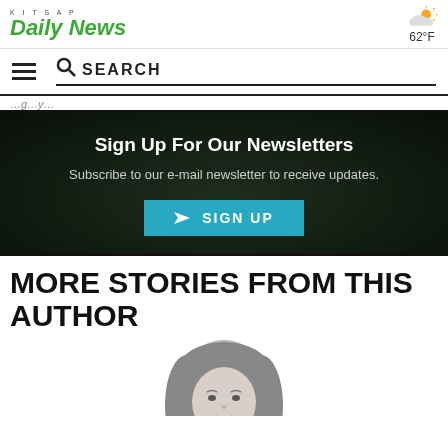Kitsap Daily News
62°F
SEARCH
Sign Up For Our Newsletters
Subscribe to our e-mail newsletter to receive updates.
SIGN UP
MORE STORIES FROM THIS AUTHOR
[Figure (photo): Black and white portrait photo of an author, partially visible, showing face and hair]